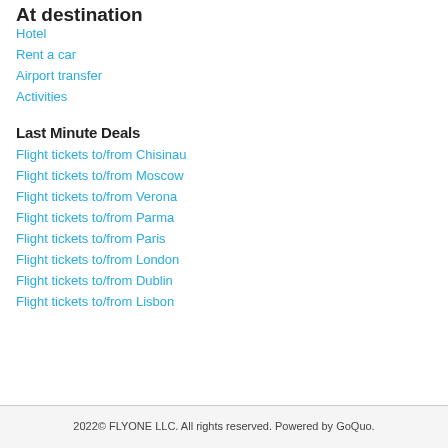At destination
Hotel
Rent a car
Airport transfer
Activities
Last Minute Deals
Flight tickets to/from Chisinau
Flight tickets to/from Moscow
Flight tickets to/from Verona
Flight tickets to/from Parma
Flight tickets to/from Paris
Flight tickets to/from London
Flight tickets to/from Dublin
Flight tickets to/from Lisbon
2022© FLYONE LLC. All rights reserved. Powered by GoQuo.